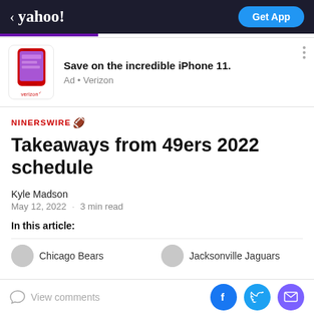< yahoo! | Get App
[Figure (illustration): Advertisement banner showing a red iPhone 11 with Verizon branding. Text: Save on the incredible iPhone 11. Ad • Verizon]
NINERS WIRE 🏈
Takeaways from 49ers 2022 schedule
Kyle Madson
May 12, 2022 · 3 min read
In this article:
Chicago Bears | Jacksonville Jaguars
View comments | Facebook | Twitter | Mail